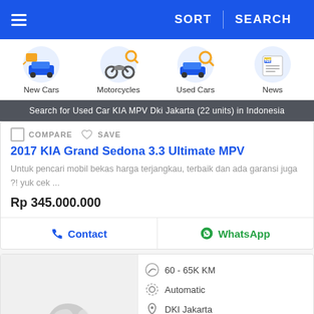≡  SORT  |  SEARCH
[Figure (screenshot): Navigation category icons: New Cars, Motorcycles, Used Cars, News]
Search for Used Car KIA MPV Dki Jakarta (22 units) in Indonesia
COMPARE  ♡ SAVE
2017 KIA Grand Sedona 3.3 Ultimate MPV
Untuk pencari mobil bekas harga terjangkau, terbaik dan ada garansi juga ?! yuk cek ...
Rp 345.000.000
Contact  WhatsApp
60 - 65K KM
Automatic
DKI Jakarta
Dealer